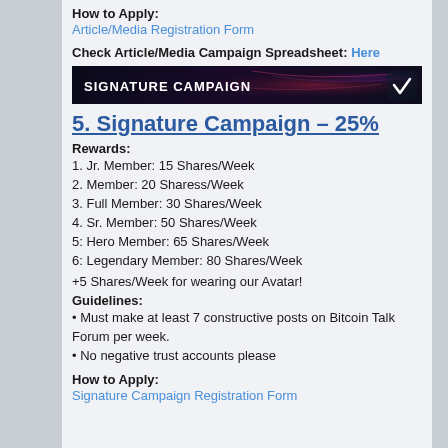How to Apply:
Article/Media Registration Form
Check Article/Media Campaign Spreadsheet: Here
[Figure (illustration): Dark banner image with 'Signature Campaign' text and a stylized checkmark logo on a dark background with red/purple light effects]
5. Signature Campaign – 25%
Rewards:
1. Jr. Member: 15 Shares/Week
2. Member: 20 Sharess/Week
3. Full Member: 30 Shares/Week
4. Sr. Member: 50 Shares/Week
5: Hero Member: 65 Shares/Week
6: Legendary Member: 80 Shares/Week
+5 Shares/Week for wearing our Avatar!
Guidelines:
• Must make at least 7 constructive posts on Bitcoin Talk Forum per week.
• No negative trust accounts please
How to Apply:
Signature Campaign Registration Form